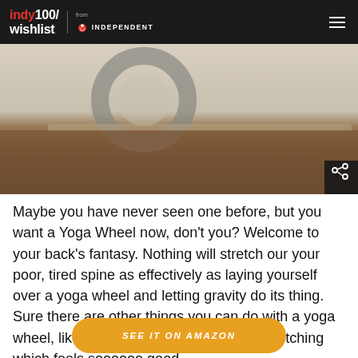indy100/wishlist from INDEPENDENT
[Figure (photo): Close-up photo of a yoga wheel prop on a wooden surface with soft background]
Maybe you have never seen one before, but you want a Yoga Wheel now, don't you? Welcome to your back's fantasy. Nothing will stretch our your poor, tired spine as effectively as laying yourself over a yoga wheel and letting gravity do its thing. Sure there are other things you can do with a yoga wheel, like yoga, but get it for the back stretching which feels soooooo good.
SEE IT ON AMAZON